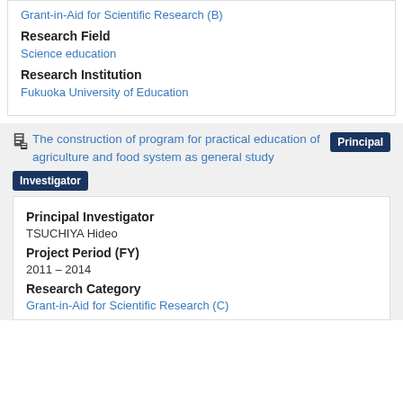Grant-in-Aid for Scientific Research (B)
Research Field
Science education
Research Institution
Fukuoka University of Education
The construction of program for practical education of agriculture and food system as general study
Principal Investigator
Principal Investigator
TSUCHIYA Hideo
Project Period (FY)
2011 – 2014
Research Category
Grant-in-Aid for Scientific Research (C)